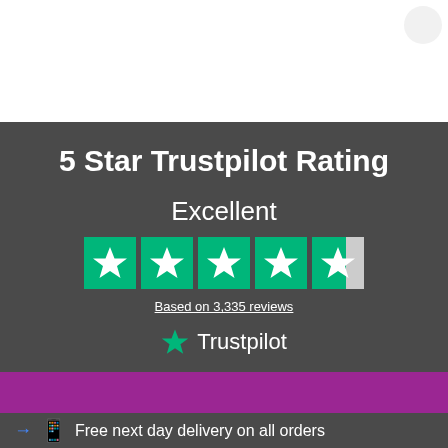[Figure (infographic): Trustpilot rating badge on dark grey background showing 5 Star Trustpilot Rating, Excellent text, 4.5 green star rating, Based on 3,335 reviews, and Trustpilot logo]
Free next day delivery on all orders